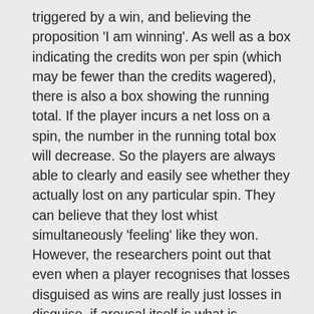triggered by a win, and believing the proposition 'I am winning'. As well as a box indicating the credits won per spin (which may be fewer than the credits wagered), there is also a box showing the running total. If the player incurs a net loss on a spin, the number in the running total box will decrease. So the players are always able to clearly and easily see whether they actually lost on any particular spin. They can believe that they lost whist simultaneously 'feeling' like they won. However, the researchers point out that even when a player recognises that losses disguised as wins are really just losses in disguise, if arousal itself is what is positively reinforcing, the player may still find slot games with losses disguised as wins more enjoyable, or potentially more addictive (if the player is a problem gambler).
This reinforcing effect of arousal could be...